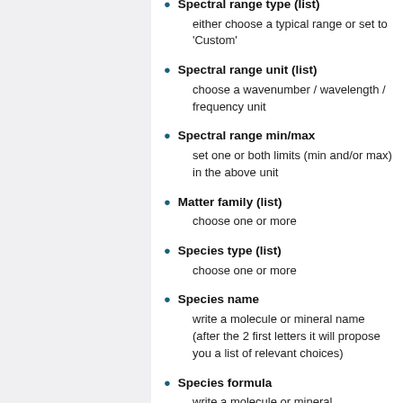Spectral range type (list): either choose a typical range or set to 'Custom'
Spectral range unit (list): choose a wavenumber / wavelength / frequency unit
Spectral range min/max: set one or both limits (min and/or max) in the above unit
Matter family (list): choose one or more
Species type (list): choose one or more
Species name: write a molecule or mineral name (after the 2 first letters it will propose you a list of relevant choices)
Species formula: write a molecule or mineral